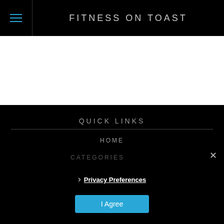FITNESS ON TOAST
QUICK LINKS
HOME
CATEGORIES
Privacy Preferences
I Agree